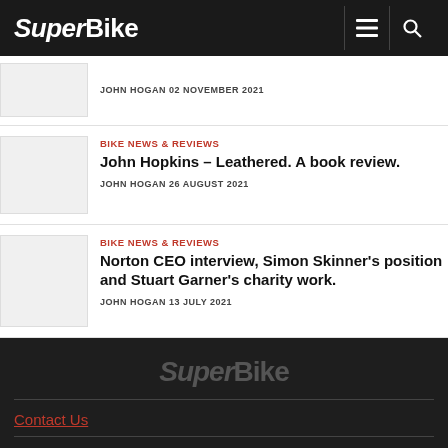SuperBike
JOHN HOGAN 02 NOVEMBER 2021
BIKE NEWS & REVIEWS
John Hopkins – Leathered. A book review.
JOHN HOGAN 26 AUGUST 2021
BIKE NEWS & REVIEWS
Norton CEO interview, Simon Skinner's position and Stuart Garner's charity work.
JOHN HOGAN 13 JULY 2021
SuperBike
Contact Us
Privacy Policy and Cookie Statement